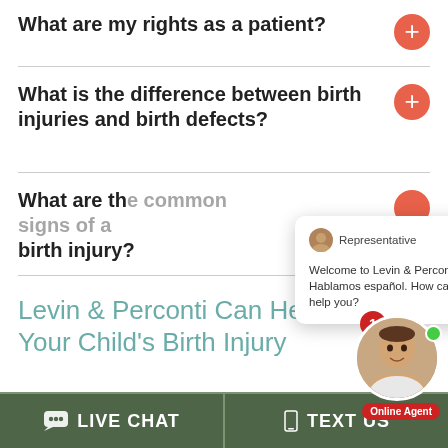What are my rights as a patient?
What is the difference between birth injuries and birth defects?
What are th... birth injury?
[Figure (screenshot): Chat popup from Representative: 'Welcome to Levin & Perconti! Hablamos español. How can we help you?']
Levin & Perconti Can Help After Your Child's Birth Injury
[Figure (photo): Online Agent avatar with badge showing 1 notification, green online indicator, and 'Online Agent' label]
LIVE CHAT
TEXT US